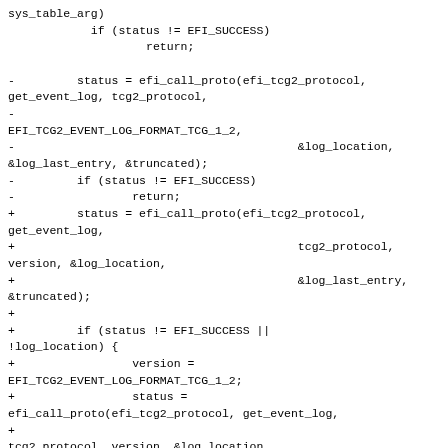sys_table_arg)
            if (status != EFI_SUCCESS)
                    return;

-         status = efi_call_proto(efi_tcg2_protocol,
get_event_log, tcg2_protocol,
-
EFI_TCG2_EVENT_LOG_FORMAT_TCG_1_2,
-                                         &log_location,
&log_last_entry, &truncated);
-         if (status != EFI_SUCCESS)
-                 return;
+         status = efi_call_proto(efi_tcg2_protocol,
get_event_log,
+                                         tcg2_protocol,
version, &log_location,
+                                         &log_last_entry,
&truncated);
+
+         if (status != EFI_SUCCESS ||
!log_location) {
+                 version =
EFI_TCG2_EVENT_LOG_FORMAT_TCG_1_2;
+                 status =
efi_call_proto(efi_tcg2_protocol, get_event_log,
+
tcg2_protocol, version, &log_location,
+
&log_last_entry, &truncated);
+                 if (status != EFI_SUCCESS ||
!log_location)